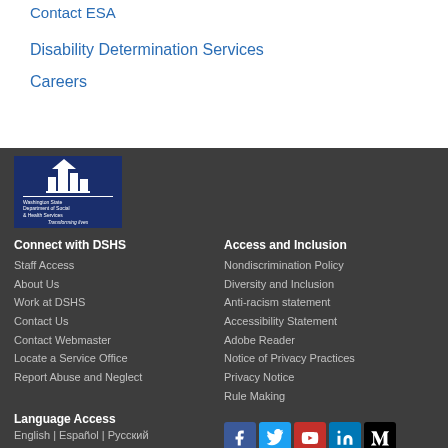Contact ESA
Disability Determination Services
Careers
[Figure (logo): Washington State Department of Social & Health Services logo with building icon and tagline 'Transforming lives']
Connect with DSHS
Staff Access
About Us
Work at DSHS
Contact Us
Contact Webmaster
Locate a Service Office
Report Abuse and Neglect
Access and Inclusion
Nondiscrimination Policy
Diversity and Inclusion
Anti-racism statement
Accessibility Statement
Adobe Reader
Notice of Privacy Practices
Privacy Notice
Rule Making
Language Access
English | Español | Русский